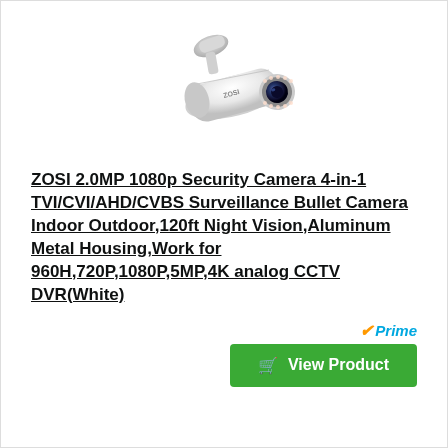[Figure (photo): White bullet security camera with mounting bracket, viewed from a slight angle showing the lens and IR LEDs]
ZOSI 2.0MP 1080p Security Camera 4-in-1 TVI/CVI/AHD/CVBS Surveillance Bullet Camera Indoor Outdoor,120ft Night Vision,Aluminum Metal Housing,Work for 960H,720P,1080P,5MP,4K analog CCTV DVR(White)